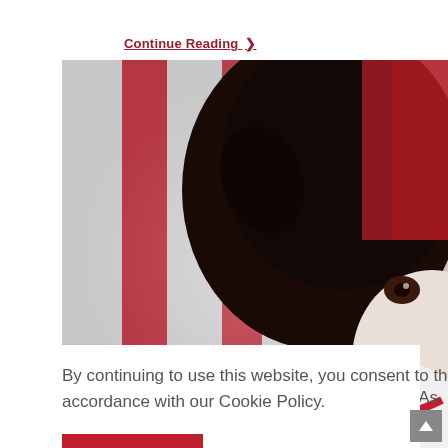Continue Reading ›
[Figure (photo): Close-up photo of a black and white dog with a red collar/leash, viewed from above. The background shows a red and white patterned surface. A person's jeans-clad legs are partially visible.]
By continuing to use this website, you consent to the use of cookies in accordance with our Cookie Policy.
ACCEPT
ldle. As he